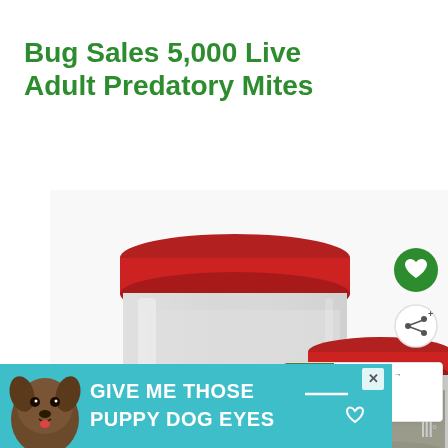Bug Sales 5,000 Live Adult Predatory Mites
[Figure (photo): Two plastic containers/jars with red lids containing predatory mites — a large tall jar in the foreground and a smaller squat jar behind it to the right, both with white/translucent bodies and red caps, on a white background.]
[Figure (other): Green circular heart/save button]
[Figure (other): White circular share button with share icon]
[Figure (other): What's Next panel showing thumbnail of ladybug on plant with text 'WHAT'S NEXT → What Eats Aphids? |...']
[Figure (other): Advertisement banner with teal background featuring a dog and text 'GIVE ME THOSE PUPPY DOG EYES' with a close button]